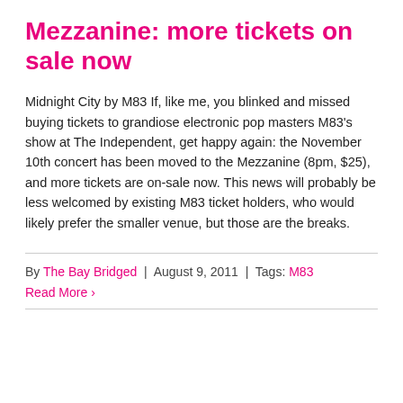Mezzanine: more tickets on sale now
Midnight City by M83 If, like me, you blinked and missed buying tickets to grandiose electronic pop masters M83's show at The Independent, get happy again: the November 10th concert has been moved to the Mezzanine (8pm, $25), and more tickets are on-sale now. This news will probably be less welcomed by existing M83 ticket holders, who would likely prefer the smaller venue, but those are the breaks.
By The Bay Bridged | August 9, 2011 | Tags: M83
Read More ›